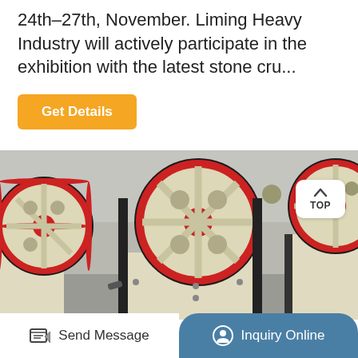24th–27th, November. Liming Heavy Industry will actively participate in the exhibition with the latest stone cru...
[Figure (photo): Multiple jaw crusher machines in a factory setting, with large flywheel discs (cream/off-white body, red rim, black tyre), arranged in a row inside an industrial building.]
Send Message | Inquiry Online